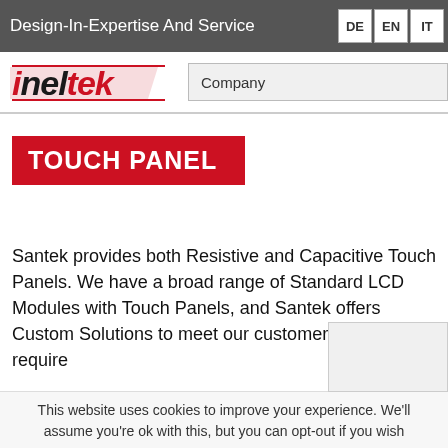Design-In-Expertise And Service
[Figure (logo): INELTEK company logo in red and black italic text]
Company
TOUCH PANEL
Santek provides both Resistive and Capacitive Touch Panels. We have a broad range of Standard LCD Modules with Touch Panels, and Santek offers Custom Solutions to meet our customer's special require
This website uses cookies to improve your experience. We'll assume you're ok with this, but you can opt-out if you wish